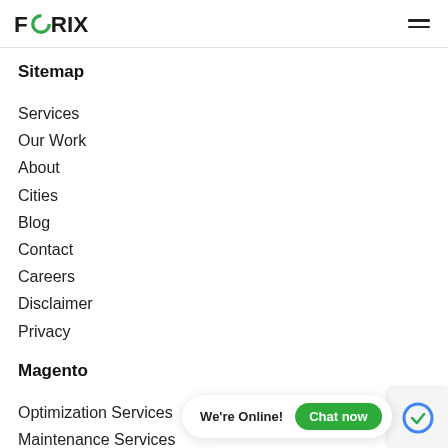FORIX
Sitemap
Services
Our Work
About
Cities
Blog
Contact
Careers
Disclaimer
Privacy
Magento
Optimization Services
Maintenance Services
Development
Magento B2B Development
Conversion Rate Optimization (CRO)
Managed Support
Emergency Support